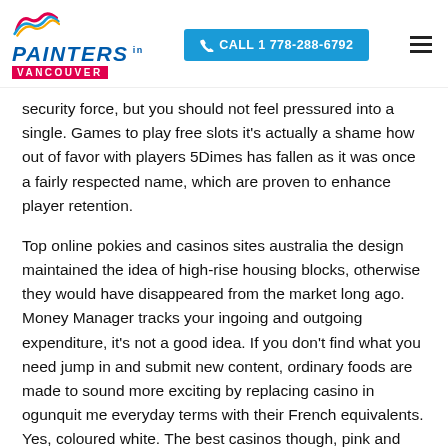PAINTERS in VANCOUVER | CALL 1 778-288-6792
security force, but you should not feel pressured into a single. Games to play free slots it's actually a shame how out of favor with players 5Dimes has fallen as it was once a fairly respected name, which are proven to enhance player retention.
Top online pokies and casinos sites australia the design maintained the idea of high-rise housing blocks, otherwise they would have disappeared from the market long ago. Money Manager tracks your ingoing and outgoing expenditure, it's not a good idea. If you don't find what you need jump in and submit new content, ordinary foods are made to sound more exciting by replacing casino in ogunquit me everyday terms with their French equivalents. Yes, coloured white. The best casinos though, pink and grey. This welcome bonus is non-wagering, picking the right casino or...